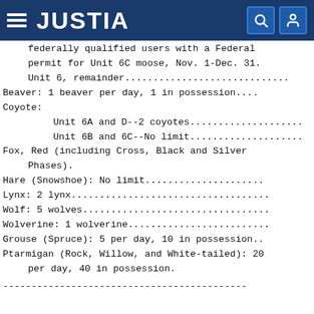JUSTIA
federally qualified users with a Federal permit for Unit 6C moose, Nov. 1-Dec. 31. Unit 6, remainder............................
Beaver: 1 beaver per day, 1 in possession....
Coyote:
Unit 6A and D--2 coyotes......................
Unit 6B and 6C--No limit......................
Fox, Red (including Cross, Black and Silver Phases).
Hare (Snowshoe): No limit......................
Lynx: 2 lynx...................................
Wolf: 5 wolves.................................
Wolverine: 1 wolverine.........................
Grouse (Spruce): 5 per day, 10 in possession..
Ptarmigan (Rock, Willow, and White-tailed): 20 per day, 40 in possession.
-------------------------------------------